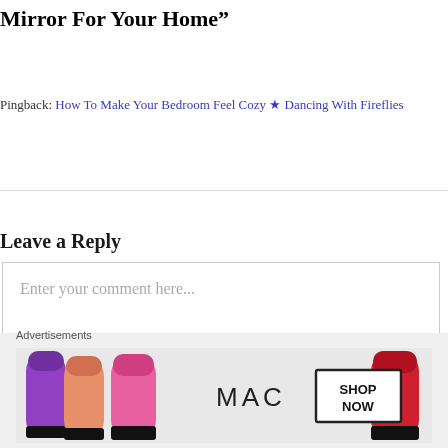Mirror For Your Home”
Pingback: How To Make Your Bedroom Feel Cozy ★ Dancing With Fireflies
Leave a Reply
Enter your comment here...
[Figure (other): MAC Cosmetics advertisement showing lipstick products with SHOP NOW call to action]